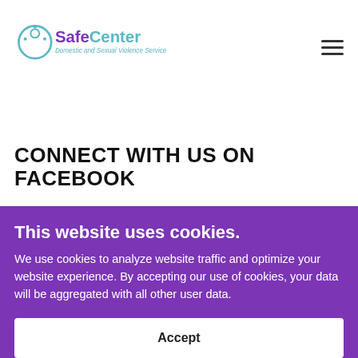SafeCenter — Domestic and Sexual Violence Services
CONNECT WITH US ON FACEBOOK
This website uses cookies.
We use cookies to analyze website traffic and optimize your website experience. By accepting our use of cookies, your data will be aggregated with all other user data.
Accept